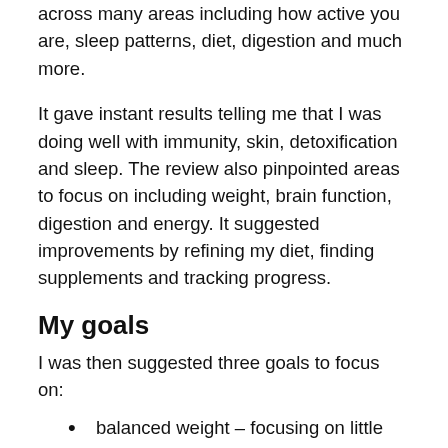across many areas including how active you are, sleep patterns, diet, digestion and much more.
It gave instant results telling me that I was doing well with immunity, skin, detoxification and sleep. The review also pinpointed areas to focus on including weight, brain function, digestion and energy. It suggested improvements by refining my diet, finding supplements and tracking progress.
My goals
I was then suggested three goals to focus on:
balanced weight – focusing on little and often and moving to 5 to 6 smaller meals per day including high nutrient foods and suggested daily supplements.